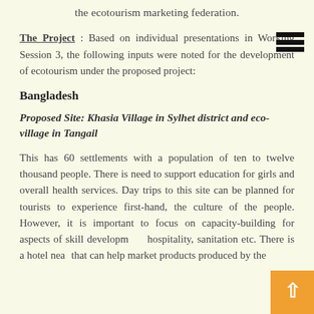the ecotourism marketing federation.
The Project : Based on individual presentations in Working Session 3, the following inputs were noted for the development of ecotourism under the proposed project:
Bangladesh
Proposed Site: Khasia Village in Sylhet district and eco-village in Tangail
This has 60 settlements with a population of ten to twelve thousand people. There is need to support education for girls and overall health services. Day trips to this site can be planned for tourists to experience first-hand, the culture of the people. However, it is important to focus on capacity-building for aspects of skill development, hospitality, sanitation etc. There is a hotel near that can help market products produced by the